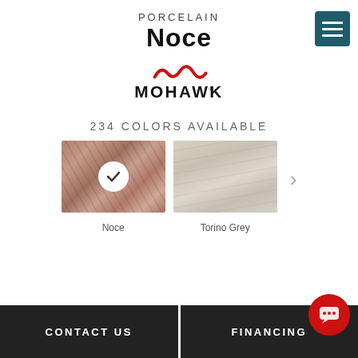PORCELAIN
Noce
[Figure (logo): Mohawk brand logo with stylized wave mark above MOHAWK text in black]
234 COLORS AVAILABLE
[Figure (photo): Two flooring color swatches: Noce (brown marble pattern, selected with checkmark) and Torino Grey (light beige/grey wood pattern), with right arrow to see more]
Noce
Torino Grey
CONTACT US
FINANCING